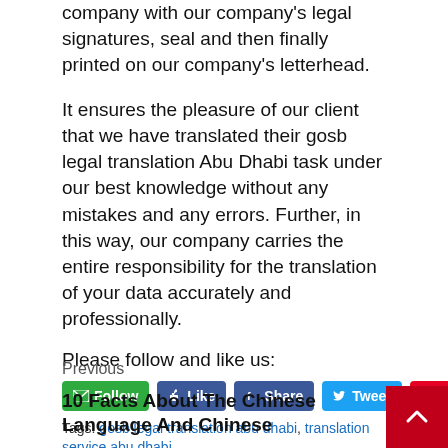company with our company's legal signatures, seal and then finally printed on our company's letterhead.
It ensures the pleasure of our client that we have translated their gosb legal translation Abu Dhabi task under our best knowledge without any mistakes and any errors. Further, in this way, our company carries the entire responsibility for the translation of your data accurately and professionally.
Please follow and like us:
[Figure (infographic): Social media buttons: Follow (green), Like (Facebook blue), Share (Facebook blue), Tweet (Twitter blue), Save (Pinterest red)]
Tags: gosb legal translation abu dhabi, translation service abu dhabi
Previous
10 Facts About The Chinese Language And Chinese